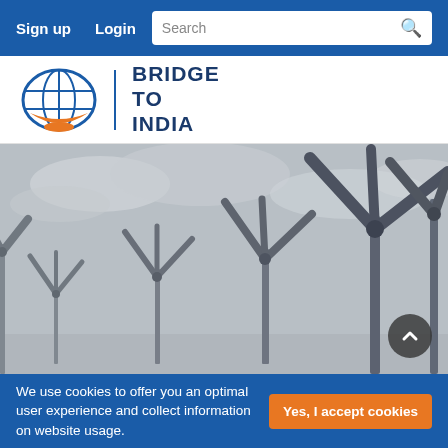Sign up  Login  Search
[Figure (logo): Bridge to India logo — globe icon with orange accent and text BRIDGE TO INDIA]
[Figure (photo): Grayscale photograph of multiple wind turbines in a field against a cloudy sky]
We use cookies to offer you an optimal user experience and collect information on website usage.  Yes, I accept cookies